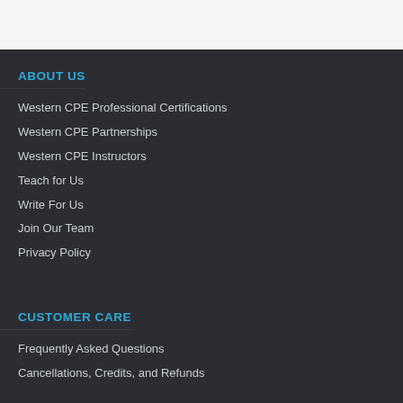ABOUT US
Western CPE Professional Certifications
Western CPE Partnerships
Western CPE Instructors
Teach for Us
Write For Us
Join Our Team
Privacy Policy
CUSTOMER CARE
Frequently Asked Questions
Cancellations, Credits, and Refunds